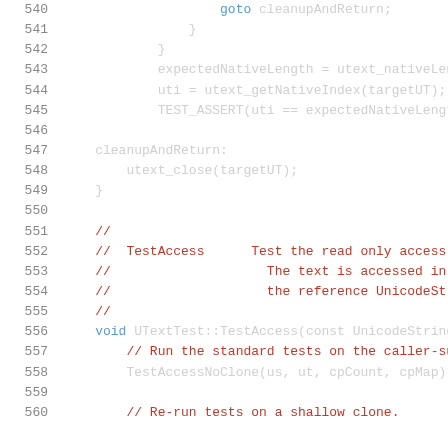[Figure (screenshot): Source code listing showing C++ code lines 540-560, with line numbers on left, syntax highlighted in a dark/light IDE style. Code includes goto statement, closing braces, expectedNativeLength assignment, uti assignment, TEST_ASSERT call, cleanupAndReturn label, utext_close call, comments for TestAccess function, void function declaration, and TestAccessNoClone call.]